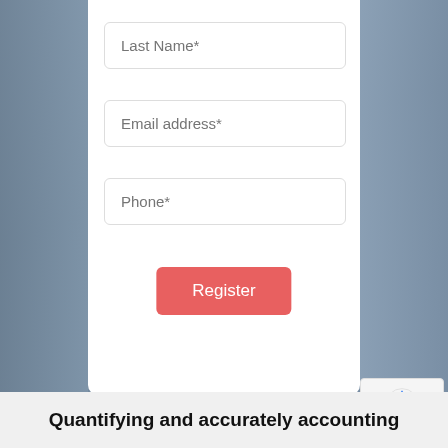[Figure (screenshot): Background showing a 3D isometric scene of a building/hospital environment with animated characters, partially visible on left and right sides.]
Last Name*
Email address*
Phone*
Register
[Figure (logo): reCAPTCHA badge with spinning arrows icon and Privacy · Terms links]
Quantifying and accurately accounting